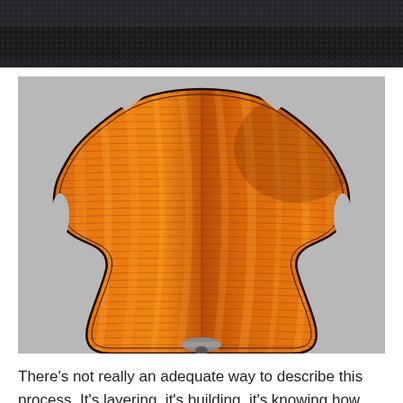[Figure (photo): Partial view of violin or string instrument body viewed from above, dark textured surface visible at top edge]
[Figure (photo): Back of a violin or viola showing flame maple wood with rich amber/orange varnish, distinctive wavy grain pattern, purfling around the edges, and an endpin or tailpiece at the bottom, photographed on a gray surface]
There's not really an adequate way to describe this process. It's layering, it's building, it's knowing how fast